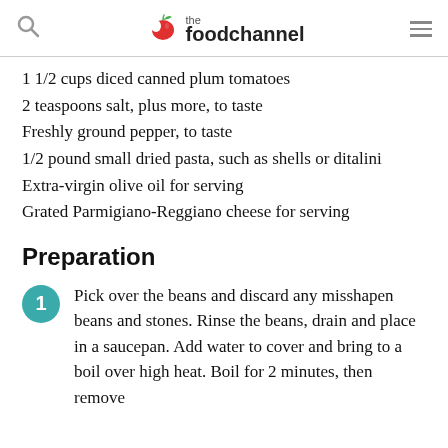the food channel
1 1/2 cups diced canned plum tomatoes
2 teaspoons salt, plus more, to taste
Freshly ground pepper, to taste
1/2 pound small dried pasta, such as shells or ditalini
Extra-virgin olive oil for serving
Grated Parmigiano-Reggiano cheese for serving
Preparation
Pick over the beans and discard any misshapen beans and stones. Rinse the beans, drain and place in a saucepan. Add water to cover and bring to a boil over high heat. Boil for 2 minutes, then remove